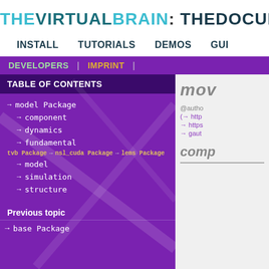THEVIRTUALBRAIN: THEDOCUMEN
INSTALL   TUTORIALS   DEMOS   GUI
DEVELOPERS | IMPRINT |
TABLE OF CONTENTS
→ model Package
→ component
→ dynamics
→ fundamental
→ model
→ simulation
→ structure
tvb Package → nsl_cuda Package → lems Package
Previous topic
→ base Package
mov
@author (→ http → https → gaut
comp